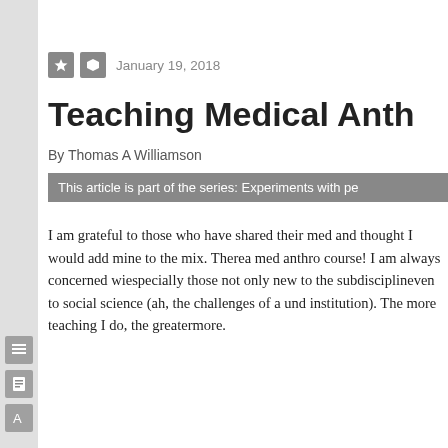January 19, 2018
Teaching Medical Anth
By Thomas A Williamson
This article is part of the series: Experiments with pe
I am grateful to those who have shared their med and thought I would add mine to the mix. There a med anthro course! I am always concerned wi especially those not only new to the subdisciplin even to social science (ah, the challenges of a un institution). The more teaching I do, the greater more.